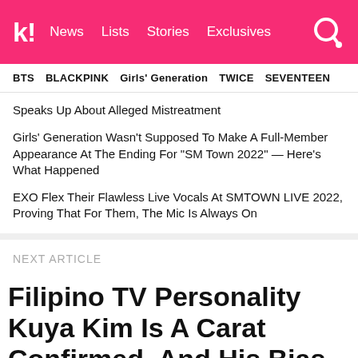k! News Lists Stories Exclusives
BTS  BLACKPINK  Girls' Generation  TWICE  SEVENTEEN
Speaks Up About Alleged Mistreatment
Girls' Generation Wasn't Supposed To Make A Full-Member Appearance At The Ending For "SM Town 2022" — Here's What Happened
EXO Flex Their Flawless Live Vocals At SMTOWN LIVE 2022, Proving That For Them, The Mic Is Always On
NEXT ARTICLE
Filipino TV Personality Kuya Kim Is A Carat Confirmed, And His Bias Is SEVENTEEN's Wonwoo